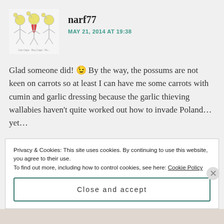[Figure (illustration): Small cartoon illustration of three characters (garlic/vegetable-like figures with capes), used as commenter avatar]
narf77
MAY 21, 2014 AT 19:38
Glad someone did! 😉 By the way, the possums are not keen on carrots so at least I can have me some carrots with cumin and garlic dressing because the garlic thieving wallabies haven't quite worked out how to invade Poland... yet...
Privacy & Cookies: This site uses cookies. By continuing to use this website, you agree to their use.
To find out more, including how to control cookies, see here: Cookie Policy
Close and accept